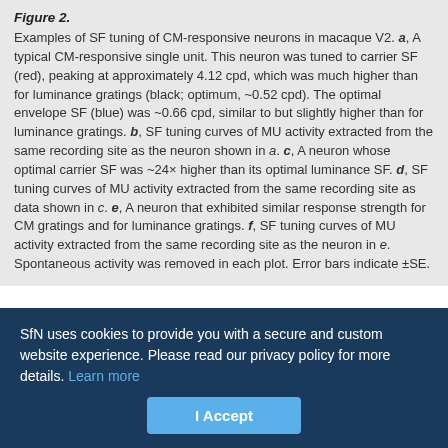Figure 2. Examples of SF tuning of CM-responsive neurons in macaque V2. a, A typical CM-responsive single unit. This neuron was tuned to carrier SF (red), peaking at approximately 4.12 cpd, which was much higher than for luminance gratings (black; optimum, ~0.52 cpd). The optimal envelope SF (blue) was ~0.66 cpd, similar to but slightly higher than for luminance gratings. b, SF tuning curves of MU activity extracted from the same recording site as the neuron shown in a. c, A neuron whose optimal carrier SF was ~24× higher than its optimal luminance SF. d, SF tuning curves of MU activity extracted from the same recording site as data shown in c. e, A neuron that exhibited similar response strength for CM gratings and for luminance gratings. f, SF tuning curves of MU activity extracted from the same recording site as the neuron in e. Spontaneous activity was removed in each plot. Error bars indicate ±SE.
The neuron in Figure 2a responded to luminance gratings (black) from 0.08 to ~1.0 cpd, with an optimum at 0.52 cpd. However CM responses (red) were obtained only for a much higher range of
SfN uses cookies to provide you with a secure and custom website experience. Please read our privacy policy for more details. Learn more